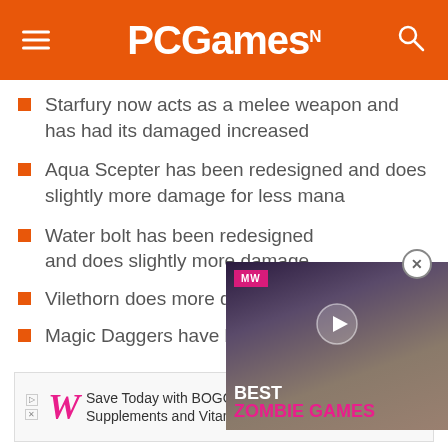PCGamesN
Starfury now acts as a melee weapon and has had its damaged increased
Aqua Scepter has been redesigned and does slightly more damage for less mana
Water bolt has been redesigned and does slightly more damage
Vilethorn does more damage
Magic Daggers have been buffed
[Figure (screenshot): Video overlay card with MW logo badge, play button, and text reading BEST ZOMBIE GAMES in white and pink on dark background]
[Figure (infographic): Walgreens advertisement banner: Save Today with BOGO Free Select Supplements and Vitamins]